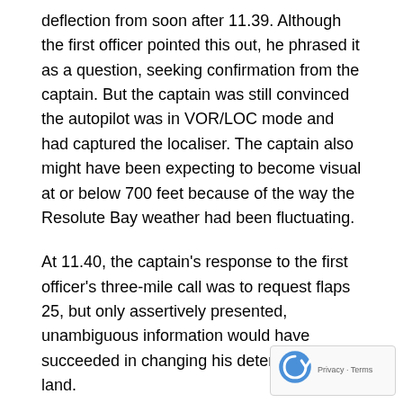deflection from soon after 11.39. Although the first officer pointed this out, he phrased it as a question, seeking confirmation from the captain. But the captain was still convinced the autopilot was in VOR/LOC mode and had captured the localiser. The captain also might have been expecting to become visual at or below 700 feet because of the way the Resolute Bay weather had been fluctuating.
At 11.40, the captain's response to the first officer's three-mile call was to request flaps 25, but only assertively presented, unambiguous information would have succeeded in changing his determination to land.
Soon after, the first officer told the captain that they needed to go left to get the aircraft back on the localiser, away from the hill. The captain responded that he could not go left. Because the aircraft was only three miles from the runway...